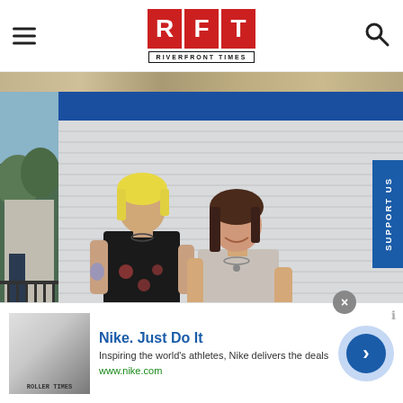RFT RIVERFRONT TIMES
[Figure (photo): Two people standing in front of a white brick wall with a blue stripe and number 4. One person with blonde hair is kissing the other on the cheek.]
[Figure (other): Nike advertisement banner: 'Nike. Just Do It' with description 'Inspiring the world's athletes, Nike delivers the deals' and URL www.nike.com]